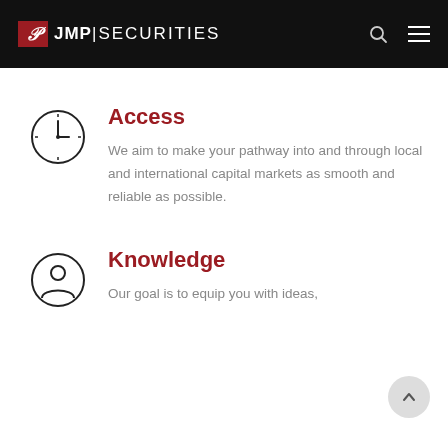JMP | SECURITIES
Access
We aim to make your pathway into and through local and international capital markets as smooth and reliable as possible.
Knowledge
Our goal is to equip you with ideas,